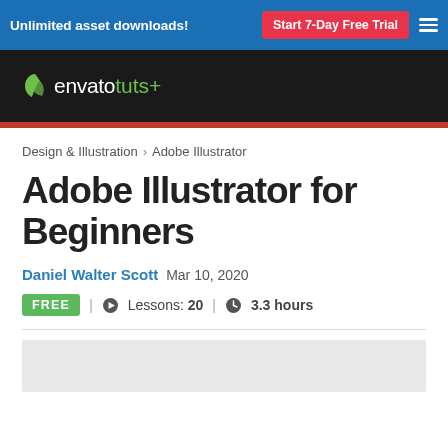Unlimited asset downloads! | Start 7-Day Free Trial
[Figure (logo): Envato Tuts+ logo in white and green on black background]
Design & Illustration > Adobe Illustrator
Adobe Illustrator for Beginners
Daniel Walter Scott  Mar 10, 2020
FREE | Lessons: 20 | 3.3 hours